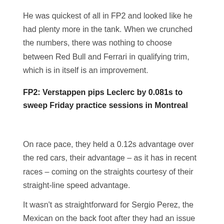He was quickest of all in FP2 and looked like he had plenty more in the tank. When we crunched the numbers, there was nothing to choose between Red Bull and Ferrari in qualifying trim, which is in itself is an improvement.
FP2: Verstappen pips Leclerc by 0.081s to sweep Friday practice sessions in Montreal
On race pace, they held a 0.12s advantage over the red cars, their advantage – as it has in recent races – coming on the straights courtesy of their straight-line speed advantage.
It wasn't as straightforward for Sergio Perez, the Mexican on the back foot after they had an issue with the set-up on his low fuel run, and that means he'll be chasing performance as the weekend goes on. But based on what Verstappen demonstrated, Red Bull